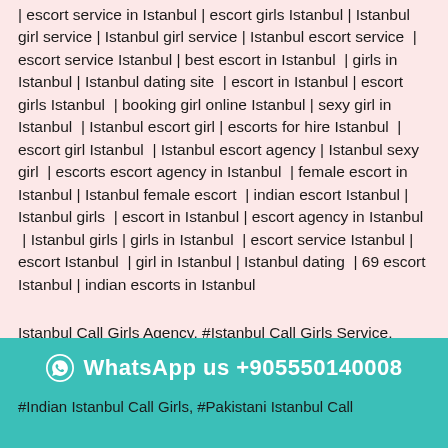| escort service in Istanbul | escort girls Istanbul | Istanbul girl service | Istanbul girl service | Istanbul escort service | escort service Istanbul | best escort in Istanbul | girls in Istanbul | Istanbul dating site | escort in Istanbul | escort girls Istanbul | booking girl online Istanbul | sexy girl in Istanbul | Istanbul escort girl | escorts for hire Istanbul | escort girl Istanbul | Istanbul escort agency | Istanbul sexy girl | escorts escort agency in Istanbul | female escort in Istanbul | Istanbul female escort | indian escort Istanbul | Istanbul girls | escort in Istanbul | escort agency in Istanbul | Istanbul girls | girls in Istanbul | escort service Istanbul | escort Istanbul | girl in Istanbul | Istanbul dating | 69 escort Istanbul | indian escorts in Istanbul
Istanbul Call Girls Agency, #Istanbul Call Girls Service, #Istanbul Independent Call Girls, #Istanbul Female Call
WhatsApp us +905550140008
#Indian Istanbul Call Girls, #Pakistani Istanbul Call